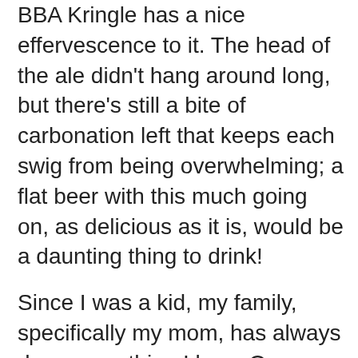BBA Kringle has a nice effervescence to it. The head of the ale didn't hang around long, but there's still a bite of carbonation left that keeps each swig from being overwhelming; a flat beer with this much going on, as delicious as it is, would be a daunting thing to drink!
Since I was a kid, my family, specifically my mom, has always done something I love. Once my parents put up their tree and get it decorated (until we moved out, my brother and I would always help with the latter part of this) it becomes the de facto nighttime light. Watching TV? Turn out the overhead lights and whatever lamps may be around and plug in the lights strung around the tree. Going to bed but your teenage son is staying up to play video games? Out go the lights, on comes the tree.
I vividly remember this being the case since I was a small child all the way through high school and college. I'm willing to bet my parents still do this now--it's a practice I've carried forward into my own adult life. Here we are, on December 12th, and I know that, regardless of my tree situation, my parents' tree is up. I can't wait to go home to see it, and I can't wait to go home to make new Christmas memories with